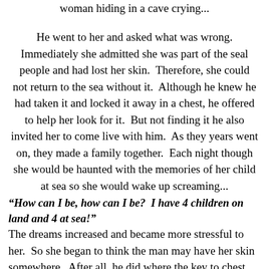woman hiding in a cave crying...
He went to her and asked what was wrong. Immediately she admitted she was part of the seal people and had lost her skin. Therefore, she could not return to the sea without it. Although he knew he had taken it and locked it away in a chest, he offered to help her look for it. But not finding it he also invited her to come live with him. As they years went on, they made a family together. Each night though she would be haunted with the memories of her child at sea so she would wake up screaming...
“How can I be, how can I be? I have 4 children on land and 4 at sea!”
The dreams increased and became more stressful to her. So she began to think the man may have her skin somewhere. After all, he did where the key to chest